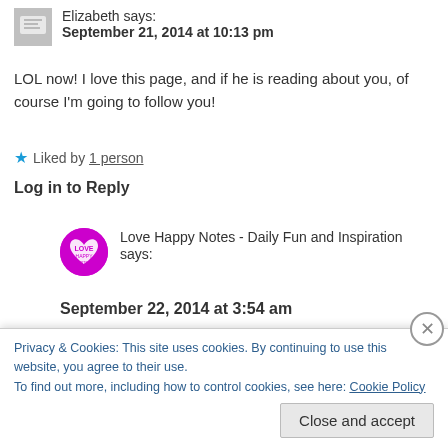Elizabeth says:
September 21, 2014 at 10:13 pm
LOL now! I love this page, and if he is reading about you, of course I'm going to follow you!
★ Liked by 1 person
Log in to Reply
Love Happy Notes - Daily Fun and Inspiration says:
September 22, 2014 at 3:54 am
That's so cool Elizabeth. Thank you. 😊
Privacy & Cookies: This site uses cookies. By continuing to use this website, you agree to their use.
To find out more, including how to control cookies, see here: Cookie Policy
Close and accept